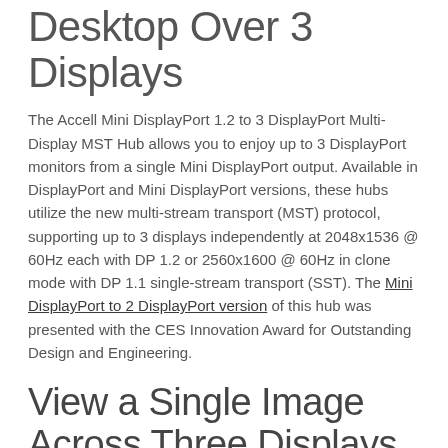Desktop Over 3 Displays
The Accell Mini DisplayPort 1.2 to 3 DisplayPort Multi-Display MST Hub allows you to enjoy up to 3 DisplayPort monitors from a single Mini DisplayPort output. Available in DisplayPort and Mini DisplayPort versions, these hubs utilize the new multi-stream transport (MST) protocol, supporting up to 3 displays independently at 2048x1536 @ 60Hz each with DP 1.2 or 2560x1600 @ 60Hz in clone mode with DP 1.1 single-stream transport (SST). The Mini DisplayPort to 2 DisplayPort version of this hub was presented with the CES Innovation Award for Outstanding Design and Engineering.
View a Single Image Across Three Displays
You can chose to view a single image across three displays, perfect for gaming, graphics design or spreadsheet analysis. Easily dedicate each display to a separate application, providing the efficiency and productivity of multi-tasking. Use 2 Multi-Display Hubs for a video card